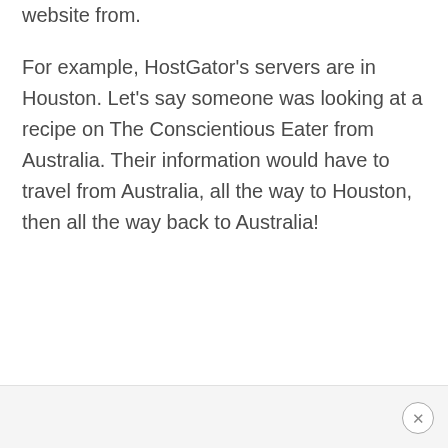website from.
For example, HostGator's servers are in Houston. Let's say someone was looking at a recipe on The Conscientious Eater from Australia. Their information would have to travel from Australia, all the way to Houston, then all the way back to Australia!